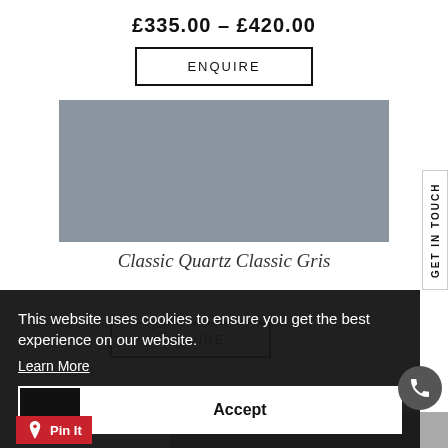£335.00 – £420.00
ENQUIRE
[Figure (photo): Grey quartz stone swatch sample]
Classic Quartz Classic Gris
ENQUIRE
GET IN TOUCH
This website uses cookies to ensure you get the best experience on our website. Learn More
Accept
Pin It